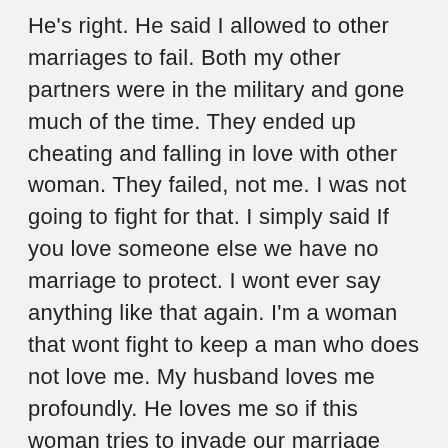He's right. He said I allowed to other marriages to fail. Both my other partners were in the military and gone much of the time. They ended up cheating and falling in love with other woman. They failed, not me. I was not going to fight for that. I simply said If you love someone else we have no marriage to protect. I wont ever say anything like that again. I'm a woman that wont fight to keep a man who does not love me. My husband loves me profoundly. He loves me so if this woman tries to invade our marriage she will have a fight on her hands. My husband likes things neat and tidy. If something did not work he looks inward at himself to see what he could of done better. I think that's were he is having the issue. Soimetimes life is not black and white they way he thinks. Sometimes people are cruel just to be cruel. I just hope the